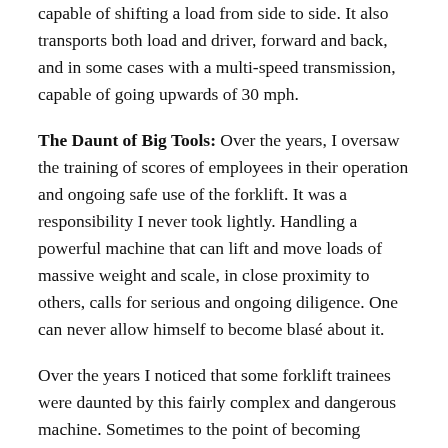capable of shifting a load from side to side. It also transports both load and driver, forward and back, and in some cases with a multi-speed transmission, capable of going upwards of 30 mph.
The Daunt of Big Tools: Over the years, I oversaw the training of scores of employees in their operation and ongoing safe use of the forklift. It was a responsibility I never took lightly. Handling a powerful machine that can lift and move loads of massive weight and scale, in close proximity to others, calls for serious and ongoing diligence. One can never allow himself to become blasé about it.
Over the years I noticed that some forklift trainees were daunted by this fairly complex and dangerous machine. Sometimes to the point of becoming overly-cautious and hesitant in their use. Rightfully so. In such cases, it was